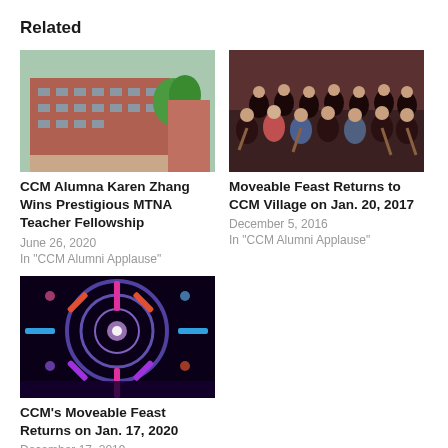Related
[Figure (photo): Exterior of a red brick university building with trees and courtyard]
CCM Alumna Karen Zhang Wins Prestigious MTNA Teacher Fellowship
June 26, 2020
In "CCM Alumni Applause"
[Figure (photo): Orchestra or ensemble of musicians in formal attire on a stage]
Moveable Feast Returns to CCM Village on Jan. 20, 2017
December 5, 2016
In "CCM Alumni Applause"
[Figure (photo): Stage concert with colorful neon lights and circular light structures]
CCM's Moveable Feast Returns on Jan. 17, 2020
December 17, 2019
In "CCM News"